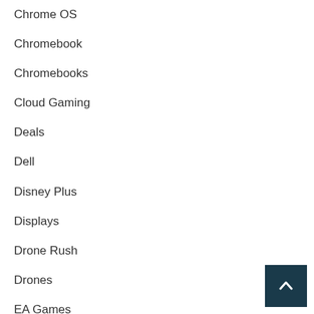Chrome OS
Chromebook
Chromebooks
Cloud Gaming
Deals
Dell
Disney Plus
Displays
Drone Rush
Drones
EA Games
earbuds
eBooks